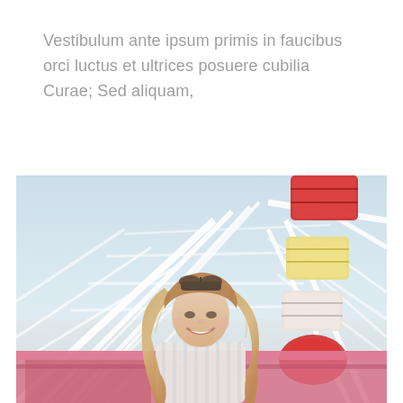Vestibulum ante ipsum primis in faucibus orci luctus et ultrices posuere cubilia Curae; Sed aliquam,
[Figure (photo): A smiling young woman with long blonde hair and sunglasses on her head, standing in a gondola of a white ferris wheel with colorful cabins (red, yellow, pink) visible behind her against a blue sky. A beach/boardwalk is visible in the background.]